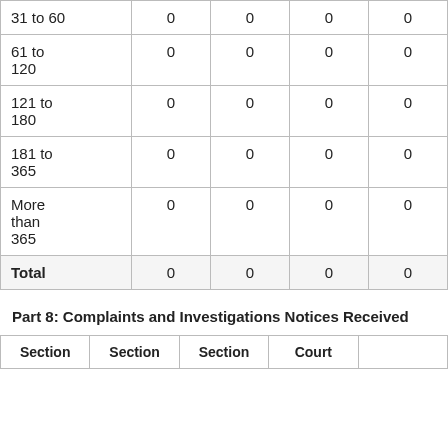| 31 to 60 | 0 | 0 | 0 | 0 |
| 61 to
120 | 0 | 0 | 0 | 0 |
| 121 to
180 | 0 | 0 | 0 | 0 |
| 181 to
365 | 0 | 0 | 0 | 0 |
| More than
365 | 0 | 0 | 0 | 0 |
| Total | 0 | 0 | 0 | 0 |
Part 8: Complaints and Investigations Notices Received
| Section | Section | Section | Court |  |
| --- | --- | --- | --- | --- |